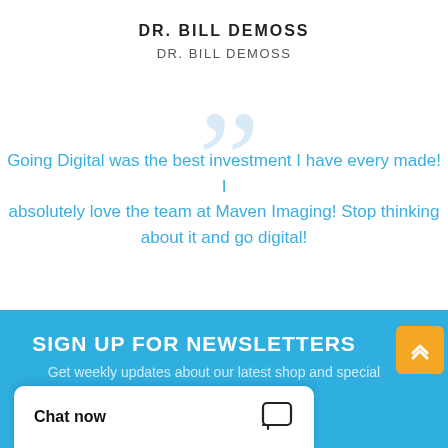DR. BILL DEMOSS
DR. BILL DEMOSS
Going Digital was the best investment I have every made! I absolutely love the team at Maven Imaging! Stop thinking about it and go digital!
SIGN UP FOR NEWSLETTERS
Get weekly updates about our latest shop and special
Chat now